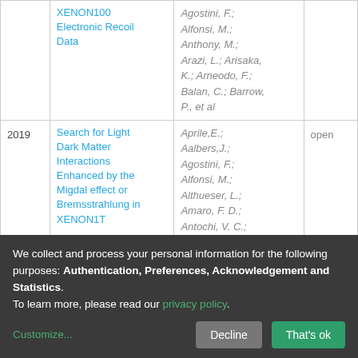| Year | Title | Authors | Access |
| --- | --- | --- | --- |
|  | XENON100 Electronic Recoil Data | Agostini, F.; Alfonsi, M.; Anthony, M.; Arazi, L.; Arisaka, K.; Arneodo, F.; Balan, C.; Barrow, P., et al |  |
| 2019 | Search for Light Dark Matter Interactions Enhanced by the Migdal effect or Bremsstrahlung in XENON1T | Aprile,E.; Aalbers,J.; Agostini, F.; Alfonsi, M.; Althueser, L.; Amaro, F. D.; Antochi, V. C.; Angeline, F.; | open |
We collect and process your personal information for the following purposes: Authentication, Preferences, Acknowledgement and Statistics. To learn more, please read our privacy policy.